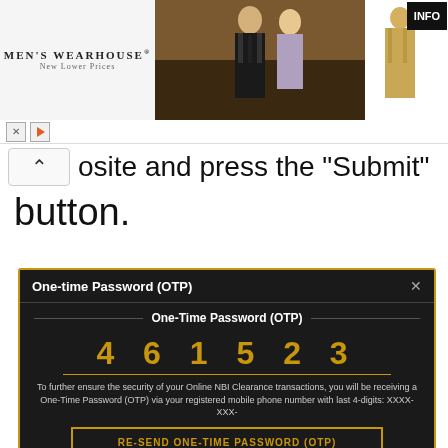[Figure (screenshot): Men's Wearhouse advertisement banner showing a couple in formal wear and a man in a tan suit, with INFO button and playback controls]
osite and press the "Submit" button.
[Figure (screenshot): One-time Password (OTP) dialog box with dark background and gold border. Shows OTP digits 4 6 1 5 2 3 in gold color. Contains description about NBI Clearance security, RE-SEND ONE-TIME PASSWORD (OTP) button, and SUBMIT button.]
One-time Password (OTP)
One-Time Password (OTP)
4 6 1 5 2 3
To further ensure the security of your Online NBI Clearance transactions, you will be receiving a One-Time Password (OTP) via your registered mobile phone number with last 4-digits: XXXX-XXX-
RE-SEND ONE-TIME PASSWORD (OTP)
SUBMIT